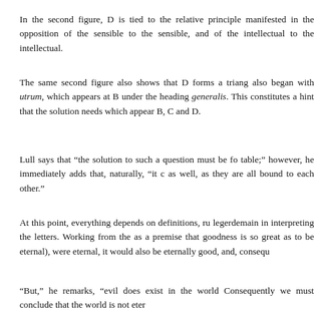In the second figure, D is tied to the relative principle manifested in the opposition of the sensible to the sensible, and of the intellectual to the intellectual.
The same second figure also shows that D forms a triangle also began with utrum, which appears at B under the heading generalis. This constitutes a hint that the solution needs which appear B, C and D.
Lull says that “the solution to such a question must be found in the table;” however, he immediately adds that, naturally, “it concerns as well, as they are all bound to each other.”
At this point, everything depends on definitions, rules, legerdemain in interpreting the letters. Working from the (as a premise that goodness is so great as to be eternal), were eternal, it would also be eternally good, and, consequently
“But,” he remarks, “evil does exist in the world Consequently we must conclude that the world is not eter